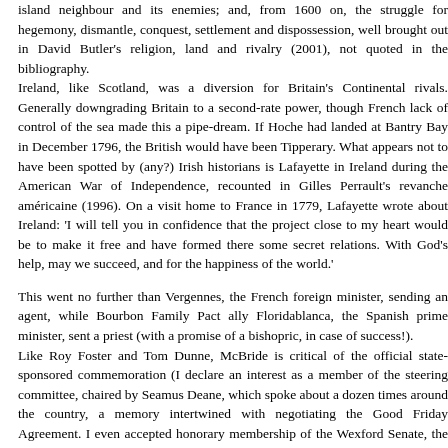island neighbour and its enemies; and, from 1600 on, the struggle for hegemony, dismantle, conquest, settlement and dispossession, well brought out in David Butler's religion, land and rivalry (2001), not quoted in the bibliography. Ireland, like Scotland, was a diversion for Britain's Continental rivals. Generally downgrading Britain to a second-rate power, though French lack of control of the sea made this a pipe-dream. If Hoche had landed at Bantry Bay in December 1796, the British would have been Tipperary. What appears not to have been spotted by (any?) Irish historians is Lafayette in Ireland during the American War of Independence, recounted in Gilles Perrault's revanche américaine (1996). On a visit home to France in 1779, Lafayette wrote about Ireland: 'I will tell you in confidence that the project close to my heart would be to make it free and have formed there some secret relations. With God's help, may we succeed, and for the happiness of the world.'
This went no further than Vergennes, the French foreign minister, sending an agent, while Bourbon Family Pact ally Floridablanca, the Spanish prime minister, sent a priest (with a promise of a bishopric, in case of success!). Like Roy Foster and Tom Dunne, McBride is critical of the official state-sponsored commemoration (I declare an interest as a member of the steering committee, chaired by Seamus Deane, which spoke about a dozen times around the country, a memory intertwined with negotiating the Good Friday Agreement. I even accepted honorary membership of the Wexford Senate, the most elusive model. Commemoration is not history. It is popular celebration of past ideas and the struggles and suffering of those who lived through dramatic and awful events, often provoked by French government in 1989, the bicentenary of the French Revolution, which into